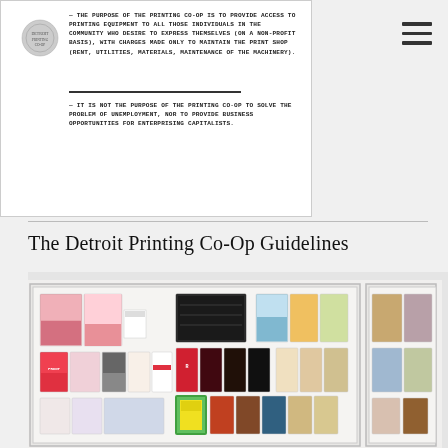[Figure (photo): Scanned printed document showing two statements about the Detroit Printing Co-Op purpose, with a small logo/seal on the left and a horizontal dividing line between the two statements.]
— THE PURPOSE OF THE PRINTING CO-OP IS TO PROVIDE ACCESS TO PRINTING EQUIPMENT TO ALL THOSE INDIVIDUALS IN THE COMMUNITY WHO DESIRE TO EXPRESS THEMSELVES (ON A NON-PROFIT BASIS), WITH CHARGES MADE ONLY TO MAINTAIN THE PRINT SHOP (RENT, UTILITIES, MATERIALS, MAINTENANCE OF THE MACHINERY).
— IT IS NOT THE PURPOSE OF THE PRINTING CO-OP TO SOLVE THE PROBLEM OF UNEMPLOYMENT, NOR TO PROVIDE BUSINESS OPPORTUNITIES FOR ENTERPRISING CAPITALISTS.
The Detroit Printing Co-Op Guidelines
[Figure (photo): Photograph of museum display cases containing numerous small printed publications, zines, booklets, and flyers from the Detroit Printing Co-Op, arranged in flat display drawers. Items include colorful pink, red, black and white printed materials.]